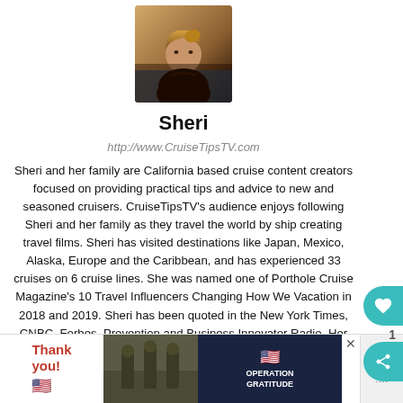[Figure (photo): Profile photo of Sheri, a woman with blonde hair against a warm-toned outdoor background]
Sheri
http://www.CruiseTipsTV.com
Sheri and her family are California based cruise content creators focused on providing practical tips and advice to new and seasoned cruisers. CruiseTipsTV's audience enjoys following Sheri and her family as they travel the world by ship creating travel films. Sheri has visited destinations like Japan, Mexico, Alaska, Europe and the Caribbean, and has experienced 33 cruises on 6 cruise lines. She was named one of Porthole Cruise Magazine's 10 Travel Influencers Changing How We Vacation in 2018 and 2019. Sheri has been quoted in the New York Times, CNBC, Forbes, Prevention and Business Innovator Radio. Her YouTube Channel, CruiseTipsTV has over 87,000 subscribers and 17 million views.
[Figure (photo): Advertisement banner for Operation Gratitude with thank you text, US flag, soldiers, and Operation Gratitude logo]